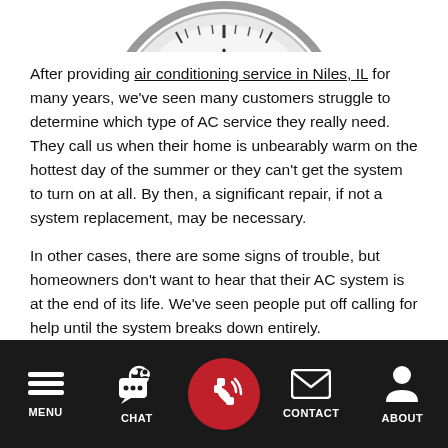[Figure (logo): Partial view of a circular logo/clock graphic with red text, cropped at the top of the page]
After providing air conditioning service in Niles, IL for many years, we've seen many customers struggle to determine which type of AC service they really need. They call us when their home is unbearably warm on the hottest day of the summer or they can't get the system to turn on at all. By then, a significant repair, if not a system replacement, may be necessary.
In other cases, there are some signs of trouble, but homeowners don't want to hear that their AC system is at the end of its life. We've seen people put off calling for help until the system breaks down entirely.
[Figure (screenshot): Mobile navigation bar with dark background containing MENU (hamburger icon), CHAT (speech bubble icon), phone call button (red circle with phone icon), CONTACT (envelope icon), and ABOUT (person icon)]